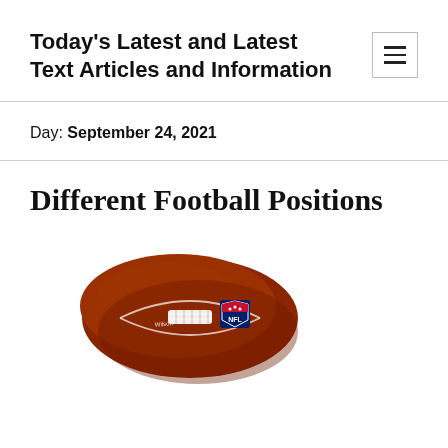Today's Latest and Latest Text Articles and Information
Day: September 24, 2021
Different Football Positions
[Figure (photo): An NFL Wilson football shown against a white background, brown leather with white laces and the NFL shield logo in blue and red.]